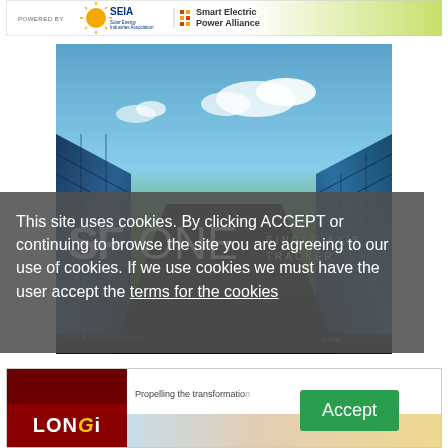[Figure (logo): Top banner with POWERED BY SEIA Solar Energy Industries Association and Smart Electric Power Alliance logos, with green gradient on right]
[Figure (photo): SF ONE Single-Axis Tracker product image showing solar panels in a field with blue sky. Text overlay: SFONE SINGLE-AXIS TRACKER. PATENT PENDING. soltec branding.]
This site uses cookies. By clicking ACCEPT or continuing to browse the site you are agreeing to our use of cookies. If we use cookies we must have the user accept the terms for the cookies
[Figure (logo): Bottom advertisement: LONGi logo with tagline 'Propelling the transformation']